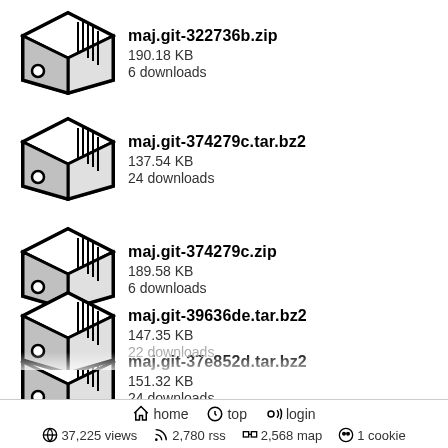maj.git-322736b.zip
190.18 KB
6 downloads
maj.git-374279c.tar.bz2
137.54 KB
24 downloads
maj.git-374279c.zip
189.58 KB
6 downloads
maj.git-37e852d.tar.bz2
151.32 KB
24 downloads
maj.git-37e852d.zip
206.21 KB
6 downloads
maj.git-39636de.tar.bz2
147.35 KB
22 downloads
home  top  login
37,225 views  2,780 rss  2,568 map  1 cookie